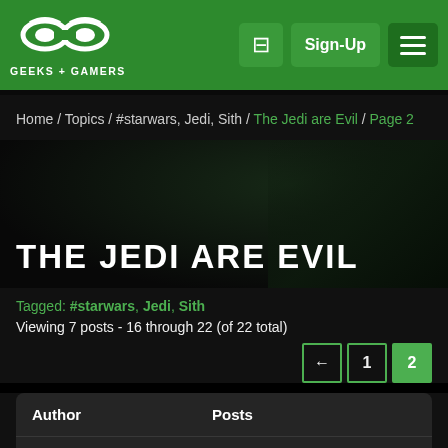GEEKS + GAMERS — Sign-Up
Home / Topics / #starwars, Jedi, Sith / The Jedi are Evil / Page 2
THE JEDI ARE EVIL
Tagged: #starwars, Jedi, Sith
Viewing 7 posts - 16 through 22 (of 22 total)
Pagination: ← 1 2
| Author | Posts |
| --- | --- |
| June 21, 2020 at 12:43 am | #168558 |